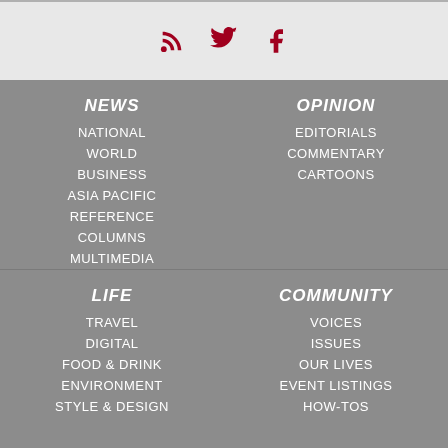[social icons: RSS, Twitter, Facebook]
NEWS
NATIONAL
WORLD
BUSINESS
ASIA PACIFIC
REFERENCE
COLUMNS
MULTIMEDIA
OPINION
EDITORIALS
COMMENTARY
CARTOONS
LIFE
TRAVEL
DIGITAL
FOOD & DRINK
ENVIRONMENT
STYLE & DESIGN
COMMUNITY
VOICES
ISSUES
OUR LIVES
EVENT LISTINGS
HOW-TOS